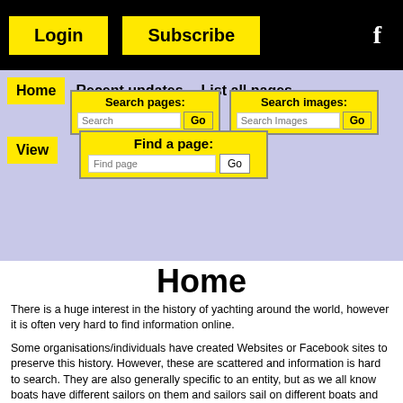Login | Subscribe | f
Home | Recent updates | List all pages | View
Search pages: [Search] Go   Search images: [Search Images] Go
Find a page: [Find page] Go
Home
There is a huge interest in the history of yachting around the world, however it is often very hard to find information online.
Some organisations/individuals have created Websites or Facebook sites to preserve this history. However, these are scattered and information is hard to search. They are also generally specific to an entity, but as we all know boats have different sailors on them and sailors sail on different boats and different events.
BoatGen (Boat Genealogy) is designed to become a one stop shop to record the ancestry of all sailing.
People and Clubs are generally very sentimental about